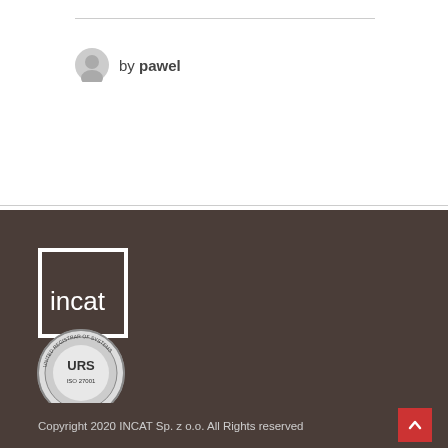by pawel
[Figure (logo): INCAT logo — white square outline with 'incat' text inside on dark brown background]
[Figure (logo): URS certification seal — circular badge with 'URS' and 'UNITED REGISTRAR OF SYSTEMS' text, ISO 27001]
Copyright 2020 INCAT Sp. z o.o. All Rights reserved